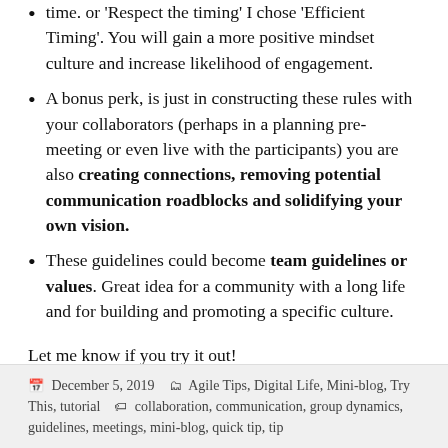time. or 'Respect the timing' I chose 'Efficient Timing'. You will gain a more positive mindset culture and increase likelihood of engagement.
A bonus perk, is just in constructing these rules with your collaborators (perhaps in a planning pre-meeting or even live with the participants) you are also creating connections, removing potential communication roadblocks and solidifying your own vision.
These guidelines could become team guidelines or values. Great idea for a community with a long life and for building and promoting a specific culture.
Let me know if you try it out!
December 5, 2019   Agile Tips, Digital Life, Mini-blog, Try This, tutorial   collaboration, communication, group dynamics, guidelines, meetings, mini-blog, quick tip, tip